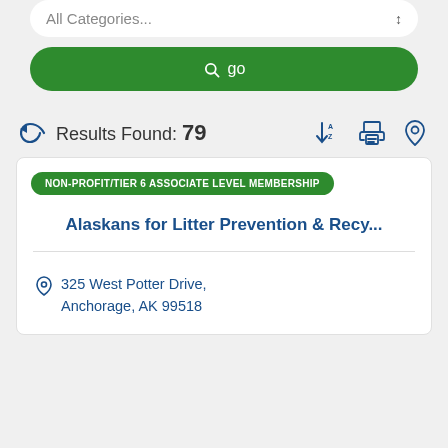[Figure (screenshot): Dropdown selector showing 'All Categories...' with sort arrows]
[Figure (screenshot): Green 'go' search button with magnifying glass icon]
Results Found: 79
NON-PROFIT/TIER 6 ASSOCIATE LEVEL MEMBERSHIP
Alaskans for Litter Prevention & Recy...
325 West Potter Drive, Anchorage, AK 99518